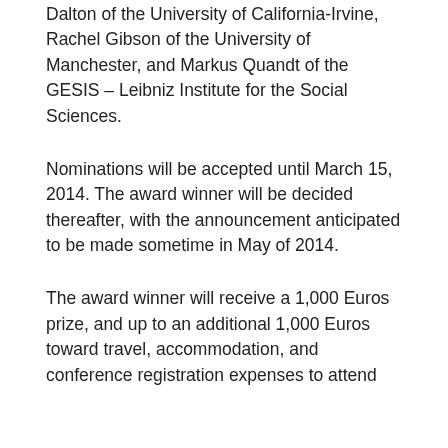Dalton of the University of California-Irvine, Rachel Gibson of the University of Manchester, and Markus Quandt of the GESIS – Leibniz Institute for the Social Sciences.
Nominations will be accepted until March 15, 2014. The award winner will be decided thereafter, with the announcement anticipated to be made sometime in May of 2014.
The award winner will receive a 1,000 Euros prize, and up to an additional 1,000 Euros toward travel, accommodation, and conference registration expenses to attend